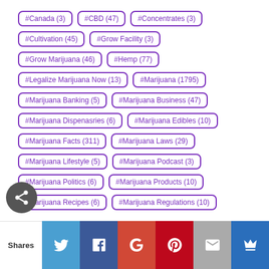#Canada (3)
#CBD (47)
#Concentrates (3)
#Cultivation (45)
#Grow Facility (3)
#Grow Marijuana (46)
#Hemp (77)
#Legalize Marijuana Now (13)
#Marijuana (1795)
#Marijuana Banking (5)
#Marijuana Business (47)
#Marijuana Dispenasries (6)
#Marijuana Edibles (10)
#Marijuana Facts (311)
#Marijuana Laws (29)
#Marijuana Lifestyle (5)
#Marijuana Podcast (3)
#Marijuana Politics (6)
#Marijuana Products (10)
#Marijuana Recipes (6)
#Marijuana Regulations (10)
#Marijuana Research (18)
#Marijuana Science (8)
#Marijuana Strains (10)
#Marijuana Technology (5)
#Marijuana Videos (7)
#Terpenes (3)
#Vaping (26)
Shares